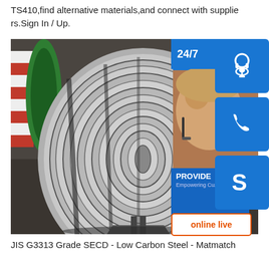TS410,find alternative materials,and connect with suppliers.Sign In / Up.
[Figure (photo): Large rolls of steel coil (low carbon steel strip) stacked in a warehouse/industrial setting. Overlaid with a customer service panel showing 24/7 support icons (headset, phone, Skype) and an 'online live' button with 'PROVIDE - Empowering Customers' text.]
JIS G3313 Grade SECD - Low Carbon Steel - Matmatch